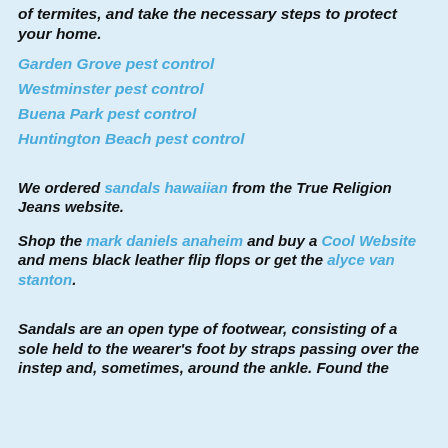of termites, and take the necessary steps to protect your home.
Garden Grove pest control
Westminster pest control
Buena Park pest control
Huntington Beach pest control
We ordered sandals hawaiian from the True Religion Jeans website.
Shop the mark daniels anaheim and buy a Cool Website and mens black leather flip flops or get the alyce van stanton.
Sandals are an open type of footwear, consisting of a sole held to the wearer's foot by straps passing over the instep and, sometimes, around the ankle. Found the